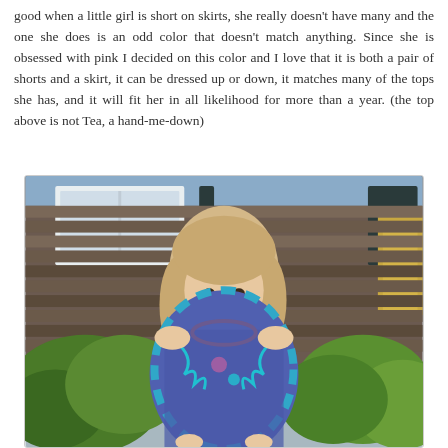good when a little girl is short on skirts, she really doesn't have many and the one she does is an odd color that doesn't match anything. Since she is obsessed with pink I decided on this color and I love that it is both a pair of shorts and a skirt, it can be dressed up or down, it matches many of the tops she has, and it will fit her in all likelihood for more than a year. (the top above is not Tea, a hand-me-down)
[Figure (photo): A young girl with long blonde hair wearing a colorful blue and purple patterned dress, standing outdoors in front of a house with shingled siding and white windows, with green plants and flowers visible in the background.]